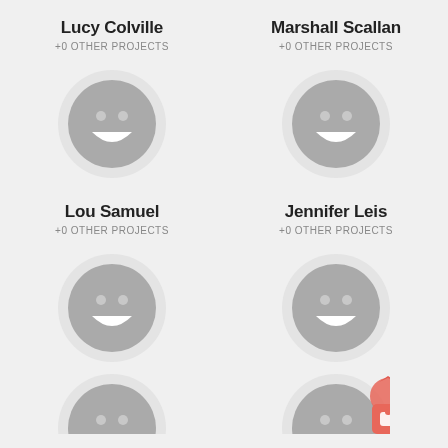Lucy Colville
+0 OTHER PROJECTS
[Figure (illustration): Gray smiley face avatar icon in a light gray circle for Lucy Colville]
Marshall Scallan
+0 OTHER PROJECTS
[Figure (illustration): Gray smiley face avatar icon in a light gray circle for Marshall Scallan]
Lou Samuel
+0 OTHER PROJECTS
[Figure (illustration): Gray smiley face avatar icon in a light gray circle for Lou Samuel]
Jennifer Leis
+0 OTHER PROJECTS
[Figure (illustration): Gray smiley face avatar icon in a light gray circle for Jennifer Leis, with a red/salmon colored lock/shopping bag badge icon overlapping bottom right]
[Figure (illustration): Partial gray smiley face avatar at bottom left]
[Figure (illustration): Partial gray smiley face avatar at bottom right with red badge overlay]